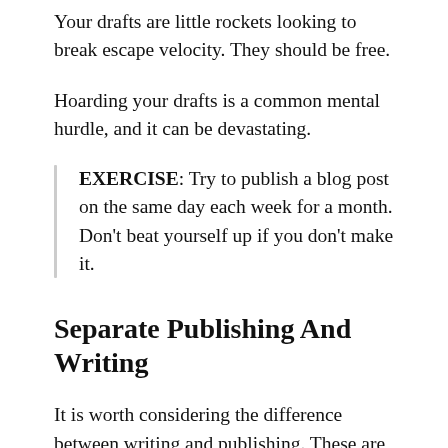Your drafts are little rockets looking to break escape velocity. They should be free.
Hoarding your drafts is a common mental hurdle, and it can be devastating.
EXERCISE: Try to publish a blog post on the same day each week for a month. Don't beat yourself up if you don't make it.
Separate Publishing And Writing
It is worth considering the difference between writing and publishing. These are different goals.
At the extreme end of publishing is someone who posts an article on Medium every single day,